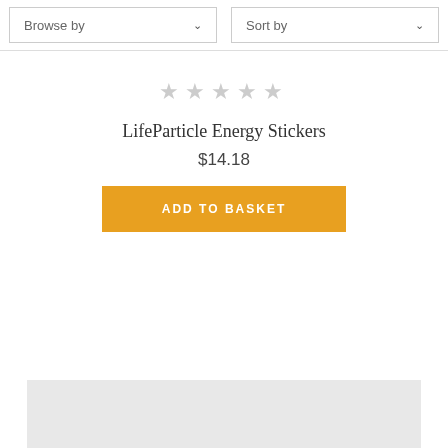Browse by
Sort by
[Figure (other): Five empty star rating icons in gray]
LifeParticle Energy Stickers
$14.18
ADD TO BASKET
[Figure (other): Gray placeholder rectangle at bottom of page]